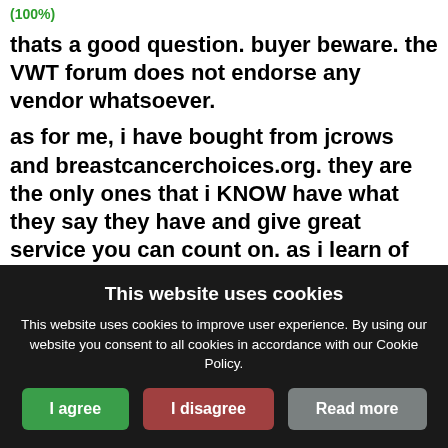(100%)
thats a good question. buyer beware. the VWT forum does not endorse any vendor whatsoever.
as for me, i have bought from jcrows and breastcancerchoices.org. they are the only ones that i KNOW have what they say they have and give great service you can count on. as i learn of any more i will revise this.
update - john with the magnascent product is another i have tried and like. it is a lower dose but it is effective. much more so than
This website uses cookies
This website uses cookies to improve user experience. By using our website you consent to all cookies in accordance with our Cookie Policy.
I agree   I disagree   Read more